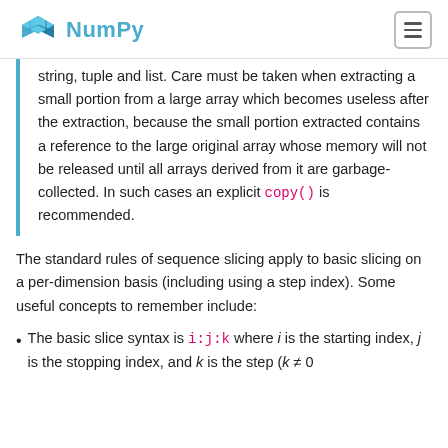NumPy
string, tuple and list. Care must be taken when extracting a small portion from a large array which becomes useless after the extraction, because the small portion extracted contains a reference to the large original array whose memory will not be released until all arrays derived from it are garbage-collected. In such cases an explicit copy() is recommended.
The standard rules of sequence slicing apply to basic slicing on a per-dimension basis (including using a step index). Some useful concepts to remember include:
The basic slice syntax is i:j:k where i is the starting index, j is the stopping index, and k is the step (k ≠ 0